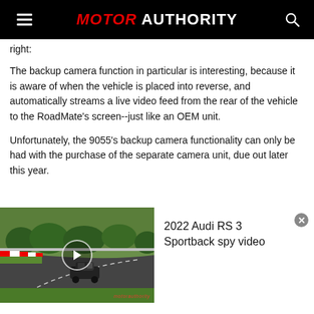MOTOR AUTHORITY
right:
The backup camera function in particular is interesting, because it is aware of when the vehicle is placed into reverse, and automatically streams a live video feed from the rear of the vehicle to the RoadMate's screen--just like an OEM unit.
Unfortunately, the 9055's backup camera functionality can only be had with the purchase of the separate camera unit, due out later this year.
[Figure (screenshot): Video player showing a car on a racing track (Nurburgring), with a play button overlay. Right side shows title '2022 Audi RS 3 Sportback spy video' with a close button.]